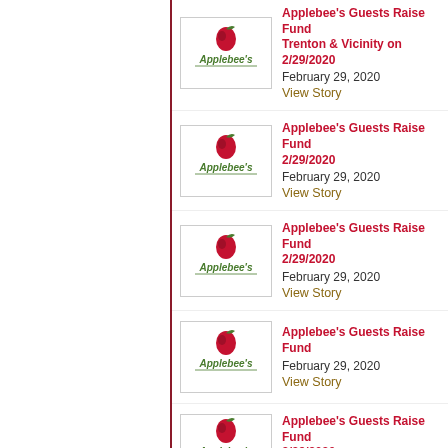Applebee's Guests Raise Fund Trenton & Vicinity on 2/29/2020 | February 29, 2020 | View Story
Applebee's Guests Raise Fund 2/29/2020 | February 29, 2020 | View Story
Applebee's Guests Raise Fund 2/29/2020 | February 29, 2020 | View Story
Applebee's Guests Raise Fund | February 29, 2020 | View Story
Applebee's Guests Raise Fund 2/29/2020 (partial)